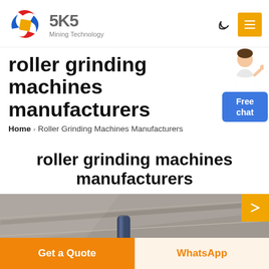[Figure (logo): SKS Mining Technology logo with circular red/blue swoosh and yellow diamond shape, company name '5K5' in gray bold text, 'Mining Technology' subtitle]
roller grinding machines manufacturers
Home › Roller Grinding Machines Manufacturers
[Figure (illustration): Chat widget: woman in white jacket pointing, with blue 'Free chat' button below]
roller grinding machines manufacturers
[Figure (photo): Close-up industrial photo of roller grinding machine parts, gray metallic surfaces with a cylindrical blue component visible]
Get a Quote
WhatsApp